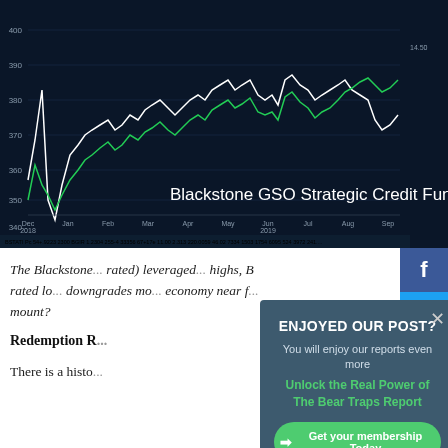[Figure (line-chart): Line chart showing two series (white and green lines) tracking price/performance over time from late 2018 through late 2019, with a dark navy background. Y-axis ranges roughly from 340 to 400. X-axis shows monthly dates from Dec 2018 to Nov 2019.]
The Blackstone ... rated) leveraged ... highs, B rated lo... downgrades mo... economy near f... mount?
Redemption R...
There is a histo...
ENJOYED OUR POST?
You will enjoy our reports even more
Unlock the Real Power of The Bear Traps Report
→ Get your membership Today